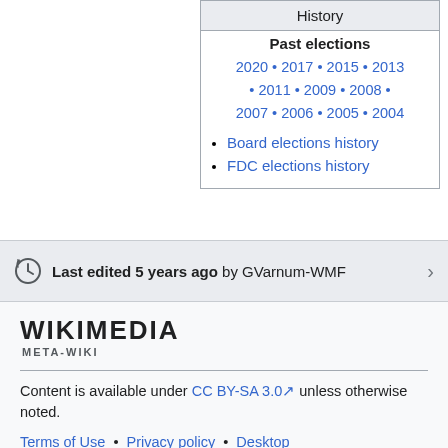| History |
| --- |
| Past elections |
| 2020 • 2017 • 2015 • 2013 • 2011 • 2009 • 2008 • 2007 • 2006 • 2005 • 2004 |
| Board elections history |
| FDC elections history |
Last edited 5 years ago by GVarnum-WMF
[Figure (logo): Wikimedia Meta-Wiki logo wordmark]
Content is available under CC BY-SA 3.0 unless otherwise noted.
Terms of Use • Privacy policy • Desktop